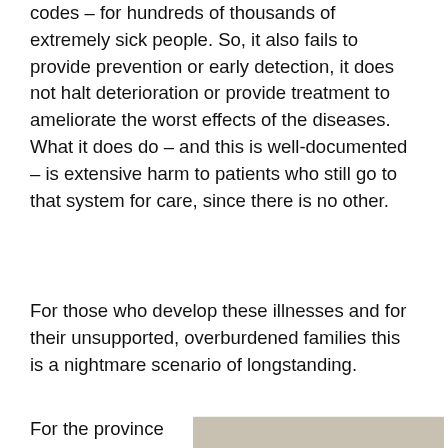codes – for hundreds of thousands of extremely sick people. So, it also fails to provide prevention or early detection, it does not halt deterioration or provide treatment to ameliorate the worst effects of the diseases. What it does do – and this is well-documented – is extensive harm to patients who still go to that system for care, since there is no other.
For those who develop these illnesses and for their unsupported, overburdened families this is a nightmare scenario of longstanding.
For the province as a whole, it means 1 in 6
[Figure (photo): A hand reaching toward a silver pot or bucket filled with US dollar bills, suggesting money or financial resources.]